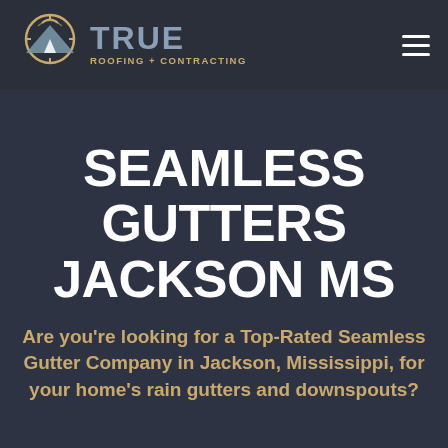[Figure (logo): True Roofing + Contracting logo with compass/roof icon and text]
SEAMLESS GUTTERS JACKSON MS
Are you’re looking for a Top-Rated Seamless Gutter Company in Jackson, Mississippi, for your home’s rain gutters and downspouts?